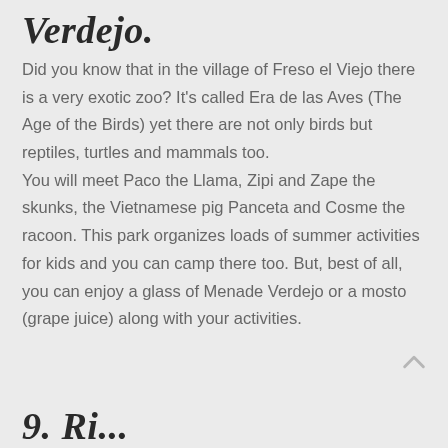Verdejo.
Did you know that in the village of Freso el Viejo there is a very exotic zoo? It's called Era de las Aves (The Age of the Birds) yet there are not only birds but reptiles, turtles and mammals too.
You will meet Paco the Llama, Zipi and Zape the skunks, the Vietnamese pig Panceta and Cosme the racoon. This park organizes loads of summer activities for kids and you can camp there too. But, best of all, you can enjoy a glass of Menade Verdejo or a mosto (grape juice) along with your activities.
9. Ri...